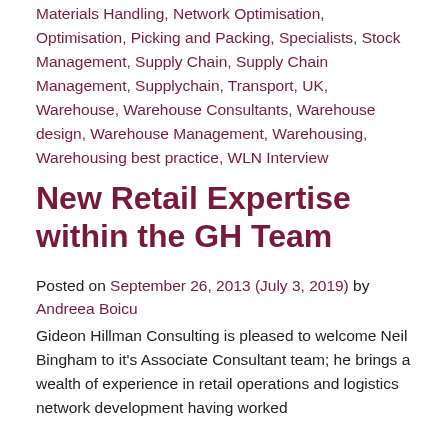Materials Handling, Network Optimisation, Optimisation, Picking and Packing, Specialists, Stock Management, Supply Chain, Supply Chain Management, Supplychain, Transport, UK, Warehouse, Warehouse Consultants, Warehouse design, Warehouse Management, Warehousing, Warehousing best practice, WLN Interview
New Retail Expertise within the GH Team
Posted on September 26, 2013 (July 3, 2019) by Andreea Boicu
Gideon Hillman Consulting is pleased to welcome Neil Bingham to it's Associate Consultant team; he brings a wealth of experience in retail operations and logistics network development having worked